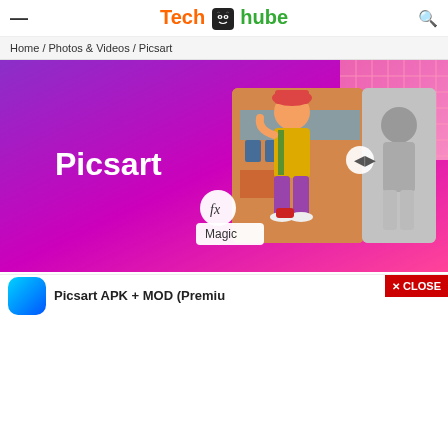Tech Nube (logo with cat icon)
Home / Photos & Videos / Picsart
[Figure (screenshot): Picsart app promotional banner with purple/pink gradient background, Picsart logo in white text on left, photo editing UI elements (fx button, Magic label, arrow controls), and a photo of a man in colorful clothing posing outdoors shown before/after editing effect.]
Picsart APK + MOD (Premiu...
[Figure (logo): Close button with X icon in red background, labeled CLOSE]